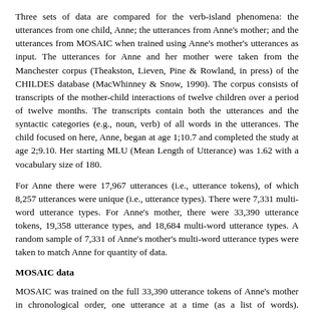Three sets of data are compared for the verb-island phenomena: the utterances from one child, Anne; the utterances from Anne's mother; and the utterances from MOSAIC when trained using Anne's mother's utterances as input. The utterances for Anne and her mother were taken from the Manchester corpus (Theakston, Lieven, Pine & Rowland, in press) of the CHILDES database (MacWhinney & Snow, 1990). The corpus consists of transcripts of the mother-child interactions of twelve children over a period of twelve months. The transcripts contain both the utterances and the syntactic categories (e.g., noun, verb) of all words in the utterances. The child focused on here, Anne, began at age 1;10.7 and completed the study at age 2;9.10. Her starting MLU (Mean Length of Utterance) was 1.62 with a vocabulary size of 180.
For Anne there were 17,967 utterances (i.e., utterance tokens), of which 8,257 utterances were unique (i.e., utterance types). There were 7,331 multi-word utterance types. For Anne's mother, there were 33,390 utterance tokens, 19,358 utterance types, and 18,684 multi-word utterance types. A random sample of 7,331 of Anne's mother's multi-word utterance types were taken to match Anne for quantity of data.
MOSAIC data
MOSAIC was trained on the full 33,390 utterance tokens of Anne's mother in chronological order, one utterance at a time (as a list of words). MOSAIC's overlap parameter was set to 15. The input to MOSAIC did not contain any coding information. This means that MOSAIC was not presented with any information about the categories of words (e.g., that "dog" was a noun or "go" was a verb) or about noun or verb morphology (e.g., "going" was seen rather than the morpheme "-ing" attached to the root form of the verb "go").